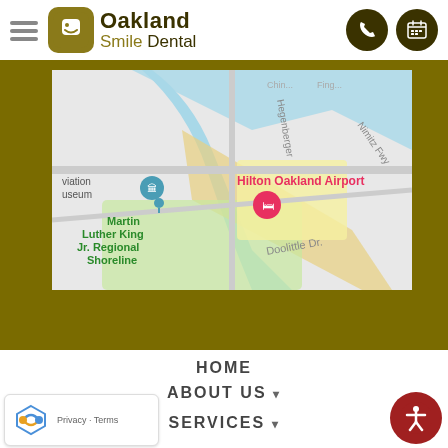[Figure (logo): Oakland Smile Dental logo with olive/dark brand colors, hamburger menu, phone and calendar icons]
[Figure (map): Google Maps screenshot showing Oakland Airport area, Martin Luther King Jr. Regional Shoreline, Hilton Oakland Airport, aviation museum, Nimitz Fwy, Doolittle Dr, Hegenberger road]
HOME
ABOUT US
SERVICES
[Figure (other): reCAPTCHA widget with logo, Privacy and Terms text]
[Figure (other): Accessibility icon - red circle with person figure]